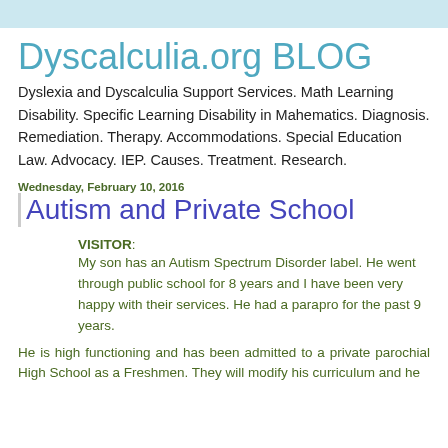Dyscalculia.org BLOG
Dyslexia and Dyscalculia Support Services. Math Learning Disability. Specific Learning Disability in Mahematics. Diagnosis. Remediation. Therapy. Accommodations. Special Education Law. Advocacy. IEP. Causes. Treatment. Research.
Wednesday, February 10, 2016
Autism and Private School
VISITOR: My son has an Autism Spectrum Disorder label. He went through public school for 8 years and I have been very happy with their services. He had a parapro for the past 9 years.
He is high functioning and has been admitted to a private parochial High School as a Freshmen. They will modify his curriculum and he